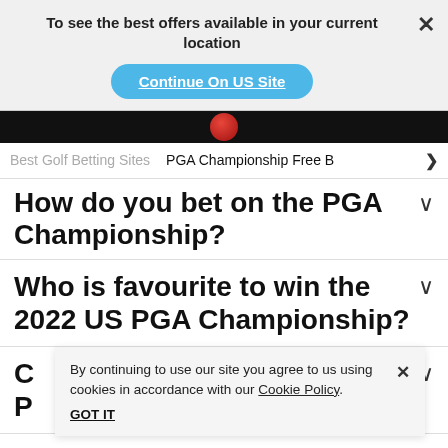To see the best offers available in your current location
Continue On US Site
[Figure (screenshot): Dark image strip with red circular element, partial view of a sports/golf image]
Best Golf Betting Sites   PGA Championship Free B >
How do you bet on the PGA Championship?
Who is favourite to win the 2022 US PGA Championship?
C ... for the P...
By continuing to use our site you agree to us using cookies in accordance with our Cookie Policy.
GOT IT
Which player has won the PGA